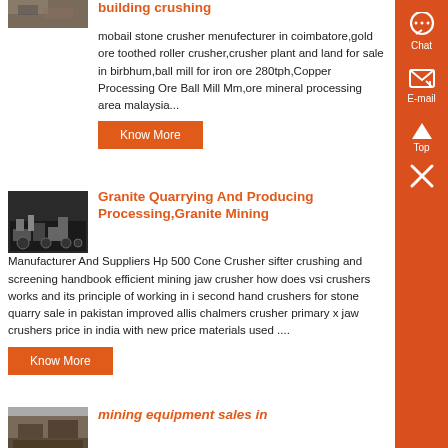[Figure (photo): Partial image of building crushing machinery at top left]
building crushing
mobail stone crusher menufecturer in coimbatore,gold ore toothed roller crusher,crusher plant and land for sale in birbhum,ball mill for iron ore 280tph,Copper Processing Ore Ball Mill Mm,ore mineral processing area malaysia...
Know More
[Figure (photo): Image of granite quarrying machine/equipment]
Granite Quarrying And Producing Processing,Granite Mining
Manufacturer And Suppliers Hp 500 Cone Crusher sifter crushing and screening handbook efficient mining jaw crusher how does vsi crushers works and its principle of working in i second hand crushers for stone quarry sale in pakistan improved allis chalmers crusher primary x jaw crushers price in india with new price materials used ....
Know More
[Figure (photo): Partial image at bottom left for mining equipment sales article]
mining equipment sales in